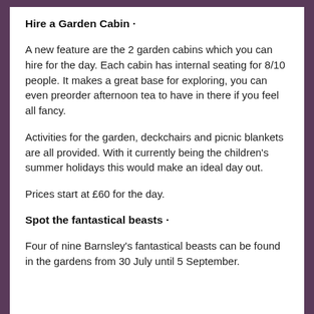Hire a Garden Cabin ·
A new feature are the 2 garden cabins which you can hire for the day. Each cabin has internal seating for 8/10 people. It makes a great base for exploring, you can even preorder afternoon tea to have in there if you feel all fancy.
Activities for the garden, deckchairs and picnic blankets are all provided. With it currently being the children's summer holidays this would make an ideal day out.
Prices start at £60 for the day.
Spot the fantastical beasts ·
Four of nine Barnsley's fantastical beasts can be found in the gardens from 30 July until 5 September.